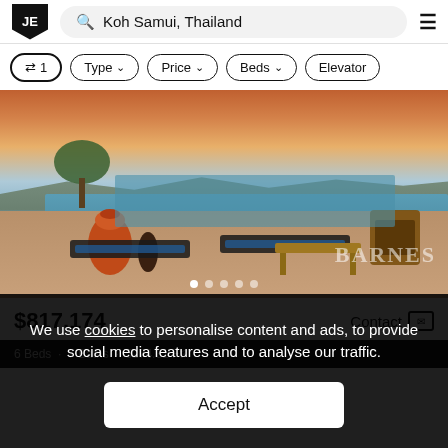JE   🔍 Koh Samui, Thailand   ≡
⇄ 1  Type ∨  Price ∨  Beds ∨  Elevator
[Figure (photo): Luxury villa infinity pool at sunset in Koh Samui, Thailand, with teak loungers, orange ceramic vases, and BARNES watermark. Pool overlooks hills and sea. Five dot carousel indicators visible.]
$817,174   Contact ✉
6 Beds · 7 Baths · 5224.31 ft²
We use cookies to personalise content and ads, to provide social media features and to analyse our traffic.
Accept